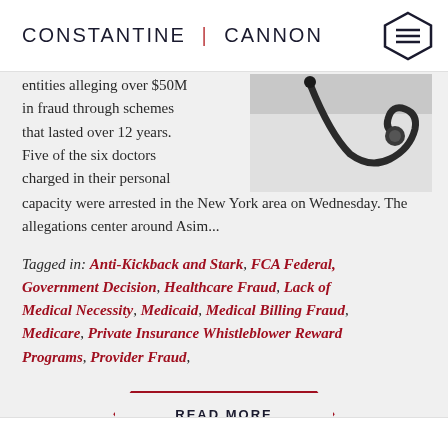CONSTANTINE | CANNON
entities alleging over $50M in fraud through schemes that lasted over 12 years. Five of the six doctors charged in their personal capacity were arrested in the New York area on Wednesday. The allegations center around Asim...
[Figure (photo): Close-up photo of a stethoscope on a white coat background]
Tagged in: Anti-Kickback and Stark, FCA Federal, Government Decision, Healthcare Fraud, Lack of Medical Necessity, Medicaid, Medical Billing Fraud, Medicare, Private Insurance Whistleblower Reward Programs, Provider Fraud,
READ MORE